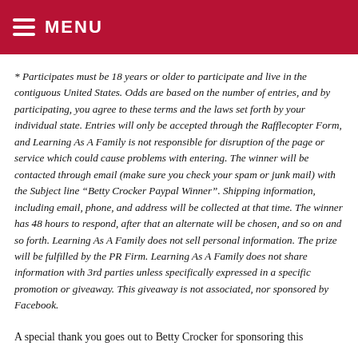MENU
* Participates must be 18 years or older to participate and live in the contiguous United States. Odds are based on the number of entries, and by participating, you agree to these terms and the laws set forth by your individual state. Entries will only be accepted through the Rafflecopter Form, and Learning As A Family is not responsible for disruption of the page or service which could cause problems with entering. The winner will be contacted through email (make sure you check your spam or junk mail) with the Subject line “Betty Crocker Paypal Winner”. Shipping information, including email, phone, and address will be collected at that time. The winner has 48 hours to respond, after that an alternate will be chosen, and so on and so forth. Learning As A Family does not sell personal information. The prize will be fulfilled by the PR Firm. Learning As A Family does not share information with 3rd parties unless specifically expressed in a specific promotion or giveaway. This giveaway is not associated, nor sponsored by Facebook.
A special thank you goes out to Betty Crocker for sponsoring this